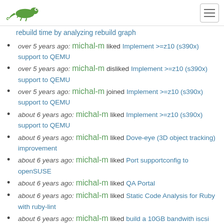[OpenSUSE logo] [hamburger menu button]
rebuild time by analyzing rebuild graph
over 5 years ago: michal-m liked Implement >=z10 (s390x) support to QEMU
over 5 years ago: michal-m disliked Implement >=z10 (s390x) support to QEMU
over 5 years ago: michal-m joined Implement >=z10 (s390x) support to QEMU
about 6 years ago: michal-m liked Implement >=z10 (s390x) support to QEMU
about 6 years ago: michal-m liked Dove-eye (3D object tracking) improvement
about 6 years ago: michal-m liked Port supportconfig to openSUSE
about 6 years ago: michal-m liked QA Portal
about 6 years ago: michal-m liked Static Code Analysis for Ruby with ruby-lint
about 6 years ago: michal-m liked build a 10GB bandwith iscsi server
about 6 years ago: michal-m liked Build tigervnc's vncviewer using emscripten
about 6 years ago: michal-m liked gdb python target / binding to libkdumpfile